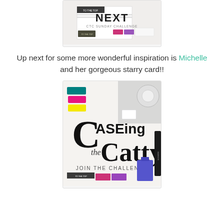[Figure (photo): Photo of CTC Sunday Challenge card with stamping supplies including ink pads and markers on a white background, with text 'NEXT CTC SUNDAY CHALLENGE']
Up next for some more wonderful inspiration is Michelle and her gorgeous starry card!!
[Figure (photo): Photo of CASEing the Catty challenge logo with crafting supplies including teal, pink, yellow markers, glitter paper, ribbon spool, and ink pads. Text reads 'CASEing the Catty JOIN THE CHALLENGE']